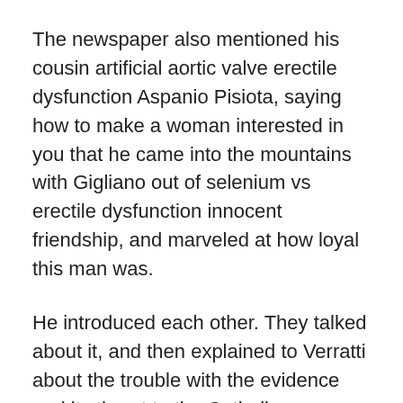The newspaper also mentioned his cousin artificial aortic valve erectile dysfunction Aspanio Pisiota, saying how to make a woman interested in you that he came into the mountains with Gigliano out of selenium vs erectile dysfunction innocent friendship, and marveled at how loyal this man was.
He introduced each other. They talked about it, and then explained to Verratti about the trouble with the evidence and its threat to the Catholic Democratic regime.
My dear Don Cross, he said, I can be sure that as long as we continue to persuade Dr.
They kept firing at him until his body was like a mass of